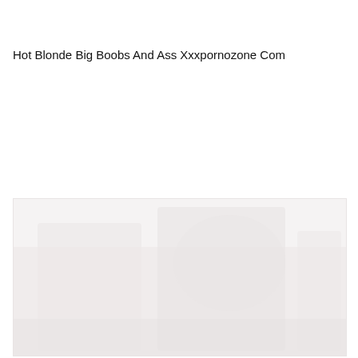Hot Blonde Big Boobs And Ass Xxxpornozone Com
[Figure (photo): Faded/washed out photo placeholder area with very light pinkish-grey tones suggesting an obscured image]